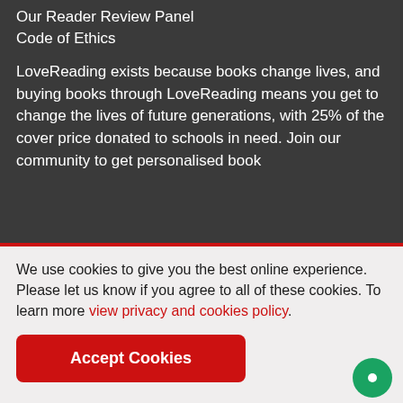Our Reader Review Panel
Code of Ethics
LoveReading exists because books change lives, and buying books through LoveReading means you get to change the lives of future generations, with 25% of the cover price donated to schools in need. Join our community to get personalised book
We use cookies to give you the best online experience. Please let us know if you agree to all of these cookies. To learn more view privacy and cookies policy.
Accept Cookies